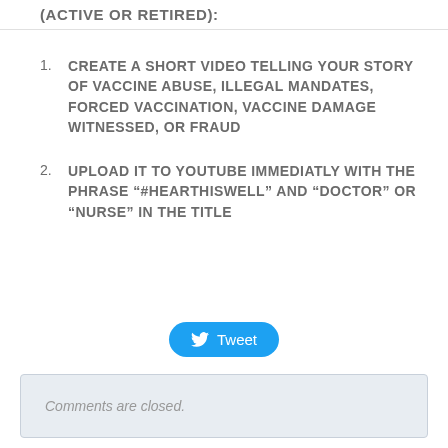(ACTIVE OR RETIRED):
CREATE A SHORT VIDEO TELLING YOUR STORY OF VACCINE ABUSE, ILLEGAL MANDATES, FORCED VACCINATION, VACCINE DAMAGE WITNESSED, OR FRAUD
UPLOAD IT TO YOUTUBE IMMEDIATLY WITH THE PHRASE “#HEARTHISWELL” AND “DOCTOR” OR “NURSE” IN THE TITLE
[Figure (other): Twitter Tweet button]
Comments are closed.